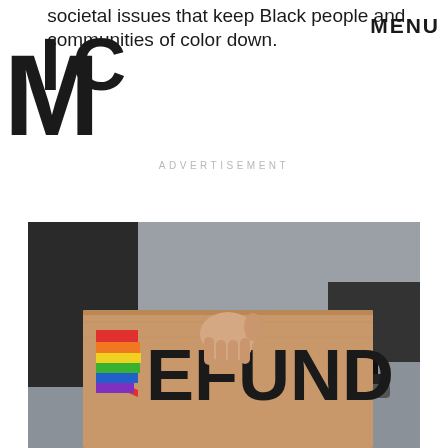MIC
societal issues that keep Black people and communities of color down.
MENU
ADVERTISEMENT
[Figure (photo): Person holding a cardboard protest sign reading DEFUND with a rainbow-colored D letter. The person is wearing black clothing and the background shows a street scene.]